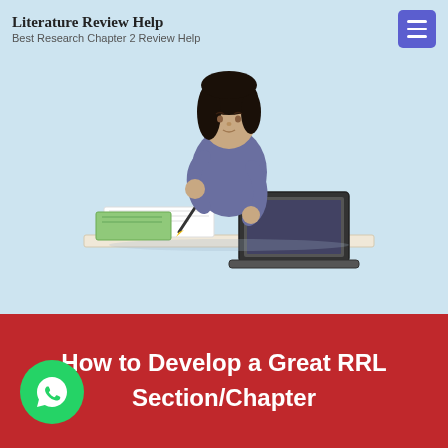Literature Review Help
Best Research Chapter 2 Review Help
[Figure (illustration): Young woman sitting at a desk, writing with a pen, with a laptop and notebook in front of her, studying or doing research.]
How to Develop a Great RRL Section/Chapter